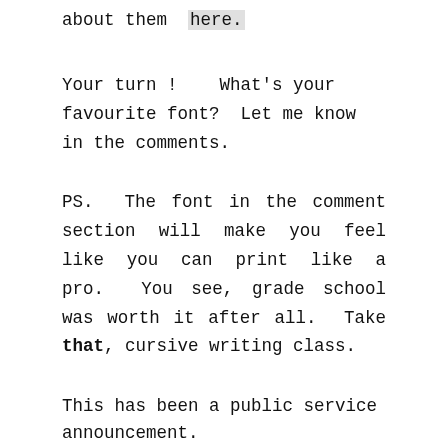about them  here.
Your turn !    What's your favourite font?  Let me know in the comments.
PS.  The font in the comment section will make you feel like you can print like a pro.  You see, grade school was worth it after all.  Take that, cursive writing class.
This has been a public service announcement.